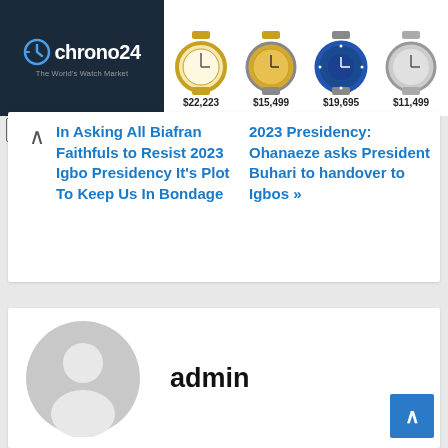[Figure (screenshot): Chrono24 advertisement banner showing logo on dark background and four watches with prices: $22,223, $15,499, $19,695, $11,499]
In Asking All Biafran Faithfuls to Resist 2023 Igbo Presidency It's Plot To Keep Us In Bondage
2023 Presidency: Ohanaeze asks President Buhari to handover to Igbos »
[Figure (illustration): Generic grey user avatar/profile icon (circle with person silhouette)]
admin